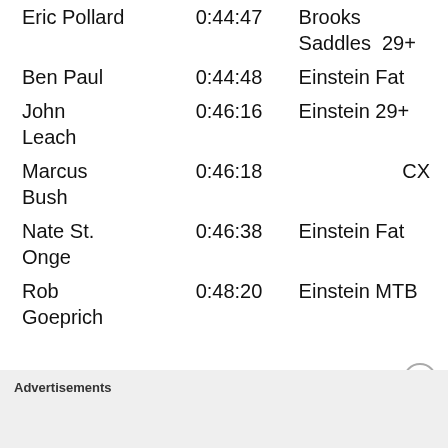| Name | Time | Bike |
| --- | --- | --- |
| Eric Pollard | 0:44:47 | Brooks Saddles 29+ |
| Ben Paul | 0:44:48 | Einstein Fat |
| John Leach | 0:46:16 | Einstein 29+ |
| Marcus Bush | 0:46:18 | CX |
| Nate St. Onge | 0:46:38 | Einstein Fat |
| Rob Goeprich | 0:48:20 | Einstein MTB |
Advertisements